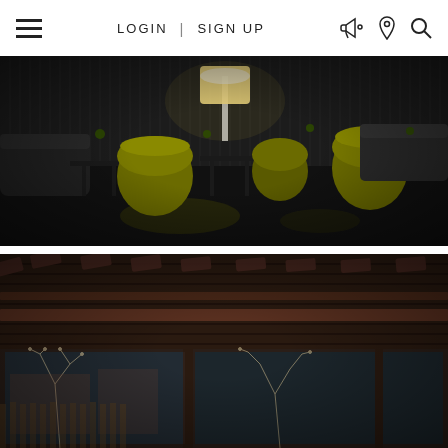LOGIN | SIGN UP
[Figure (photo): Dark luxury interior with yellow/olive curved barrel chairs arranged along black tables, black reflective floor, textured dark wall panels, and a lit floor lamp in the background.]
[Figure (photo): Exterior architectural view of a modern building with dark wood horizontal slat cladding, large glass windows/doors, exposed overhead timber beams/pergola structure, and bare deciduous trees visible through the glazing.]